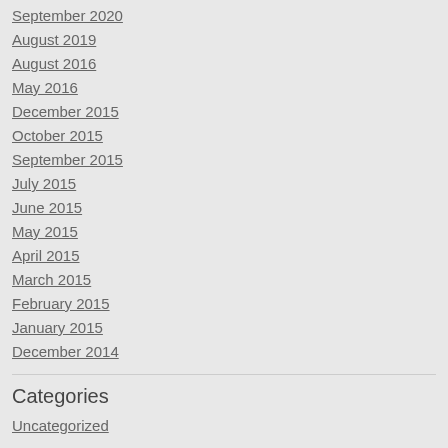September 2020
August 2019
August 2016
May 2016
December 2015
October 2015
September 2015
July 2015
June 2015
May 2015
April 2015
March 2015
February 2015
January 2015
December 2014
Categories
Uncategorized